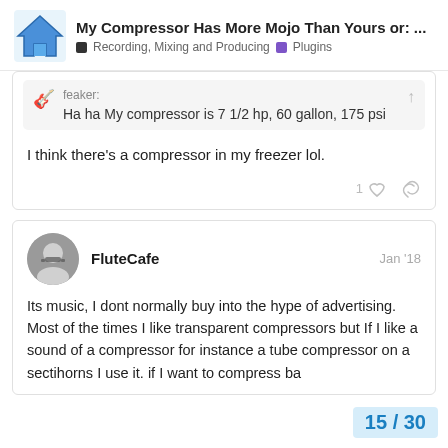My Compressor Has More Mojo Than Yours or: ... | Recording, Mixing and Producing | Plugins
feaker:
Ha ha My compressor is 7 1/2 hp, 60 gallon, 175 psi
I think there's a compressor in my freezer lol.
FluteCafe  Jan '18
Its music, I dont normally buy into the hype of advertising. Most of the times I like transparent compressors but If I like a sound of a compressor for instance a tube compressor on a secti horns I use it. if I want to compress ba